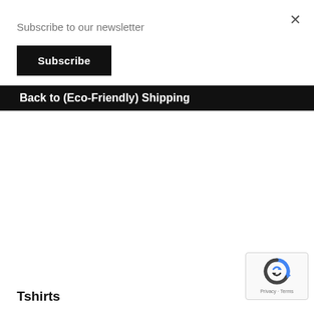×
Subscribe to our newsletter
Subscribe
Back to (Eco-Friendly) Shipping
Tshirts
[Figure (logo): reCAPTCHA widget with circular arrow logo and Privacy · Terms text]